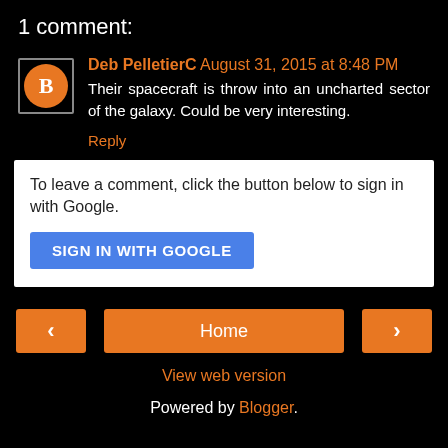1 comment:
Deb PelletierC August 31, 2015 at 8:48 PM
Their spacecraft is throw into an uncharted sector of the galaxy. Could be very interesting.
Reply
To leave a comment, click the button below to sign in with Google.
SIGN IN WITH GOOGLE
< Home > View web version Powered by Blogger.